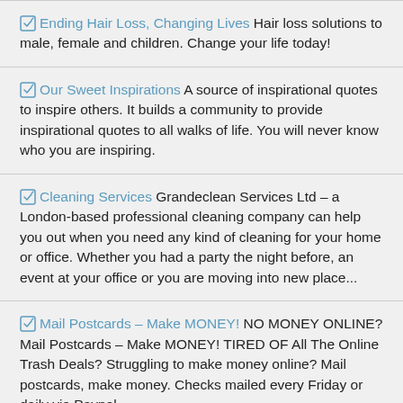Ending Hair Loss, Changing Lives Hair loss solutions to male, female and children. Change your life today!
Our Sweet Inspirations A source of inspirational quotes to inspire others. It builds a community to provide inspirational quotes to all walks of life. You will never know who you are inspiring.
Cleaning Services Grandeclean Services Ltd – a London-based professional cleaning company can help you out when you need any kind of cleaning for your home or office. Whether you had a party the night before, an event at your office or you are moving into new place...
Mail Postcards – Make MONEY! NO MONEY ONLINE? Mail Postcards – Make MONEY! TIRED OF All The Online Trash Deals? Struggling to make money online? Mail postcards, make money. Checks mailed every Friday or daily via Paypal.